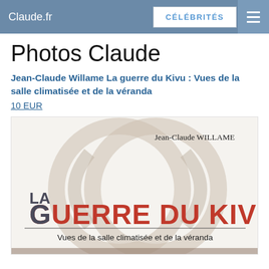Claude.fr | CÉLÉBRITÉS
Photos Claude
Jean-Claude Willame La guerre du Kivu : Vues de la salle climatisée et de la véranda
10 EUR
[Figure (illustration): Book cover of 'La Guerre du Kivu' by Jean-Claude Willame. Shows decorative circular/infinity knot design in gray on light background. Title 'LA GUERRE DU KIVU' in large bold mixed gray and red text. Subtitle 'Vues de la salle climatisée et de la véranda' in black. Author name 'Jean-Claude WILLAME' at top right.]